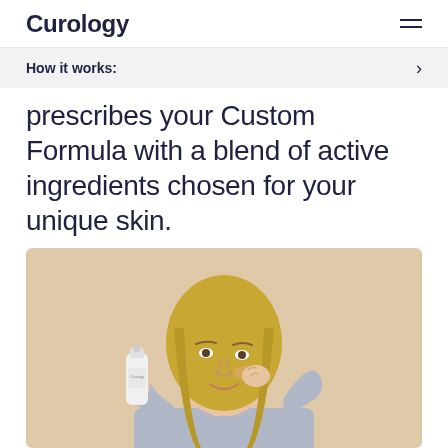Curology
How it works:
prescribes your Custom Formula with a blend of active ingredients chosen for your unique skin.
[Figure (photo): A smiling blonde woman holding a white Curology skincare bottle in one hand and touching her face with the other, against a warm beige background.]